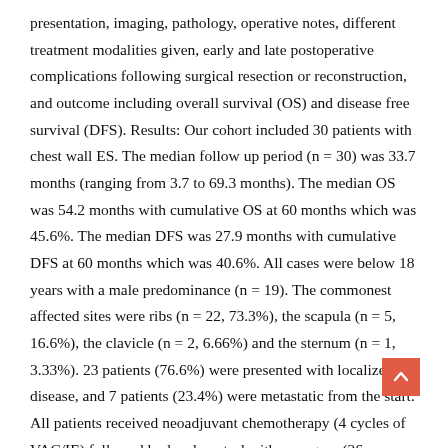presentation, imaging, pathology, operative notes, different treatment modalities given, early and late postoperative complications following surgical resection or reconstruction, and outcome including overall survival (OS) and disease free survival (DFS). Results: Our cohort included 30 patients with chest wall ES. The median follow up period (n = 30) was 33.7 months (ranging from 3.7 to 69.3 months). The median OS was 54.2 months with cumulative OS at 60 months which was 45.6%. The median DFS was 27.9 months with cumulative DFS at 60 months which was 40.6%. All cases were below 18 years with a male predominance (n = 19). The commonest affected sites were ribs (n = 22, 73.3%), the scapula (n = 5, 16.6%), the clavicle (n = 2, 6.66%) and the sternum (n = 1, 3.33%). 23 patients (76.6%) were presented with localized disease, and 7 patients (23.4%) were metastatic from the start. All patients received neoadjuvant chemotherapy (4 cycles of VAC/IE) followed by local control: either surgery (26 cases, 86.6%) or radical radiotherapy (3 cases, 10%). A single case of a rib ES with initial bilateral lung deposited where